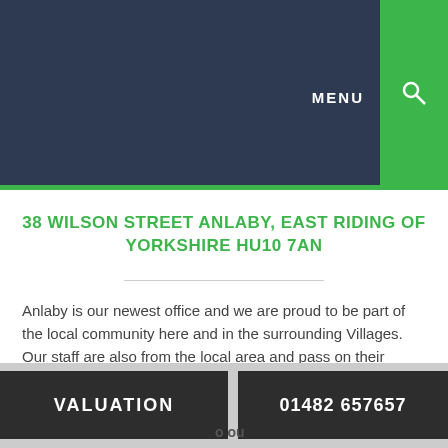MENU
BRANCH
38 WILSON STREET ANLABY, EAST RIDING OF YORKSHIRE HU10 7AN
Anlaby is our newest office and we are proud to be part of the local community here and in the surrounding Villages. Our staff are also from the local area and pass on their expert knowledge to our customers.
The team at Anlaby pride themselves on their excellent result and customer service, backed up by the number of positive reviews we receive from satisfied clients.
VALUATION  01482 657657